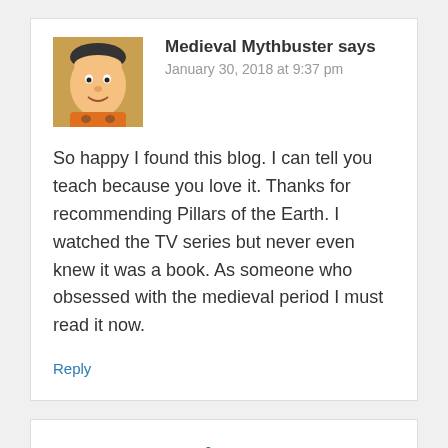Medieval Mythbuster says
January 30, 2018 at 9:37 pm
So happy I found this blog. I can tell you teach because you love it. Thanks for recommending Pillars of the Earth. I watched the TV series but never even knew it was a book. As someone who obsessed with the medieval period I must read it now.
Reply
Leave a Reply